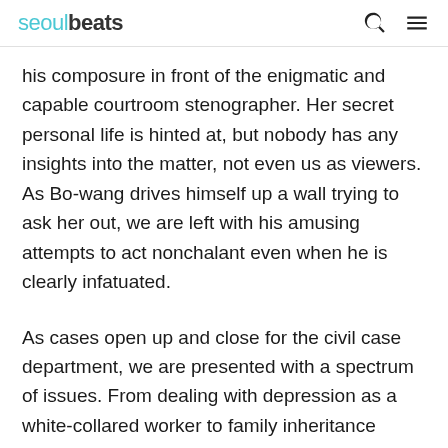seoulbeats
his composure in front of the enigmatic and capable courtroom stenographer. Her secret personal life is hinted at, but nobody has any insights into the matter, not even us as viewers. As Bo-wang drives himself up a wall trying to ask her out, we are left with his amusing attempts to act nonchalant even when he is clearly infatuated.
As cases open up and close for the civil case department, we are presented with a spectrum of issues. From dealing with depression as a white-collared worker to family inheritance squabbles, public protests, as well as having to deal with